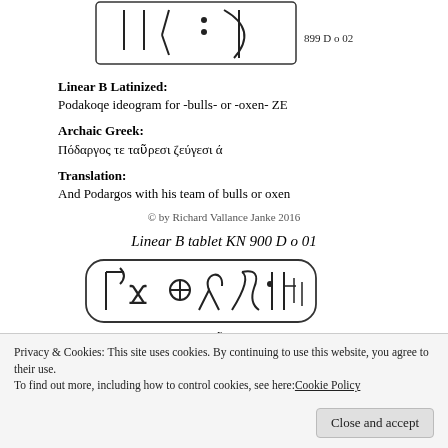[Figure (illustration): Linear B tablet image showing ancient script, labeled 899 D o 02]
Linear B Latinized:
Podakoqe ideogram for -bulls- or -oxen- ZE
Archaic Greek:
Πόδαργος τε ταῦρεσι ζεύγεσι ά
Translation:
And Podargos with his team of bulls or oxen
© by Richard Vallance Janke 2016
Linear B tablet KN 900 D o 01
[Figure (illustration): Linear B tablet KN 900 D o 01 showing ancient script symbols]
Σουτός τε ταῦρεσι ζεύγεσι ά
Privacy & Cookies: This site uses cookies. By continuing to use this website, you agree to their use.
To find out more, including how to control cookies, see here: Cookie Policy